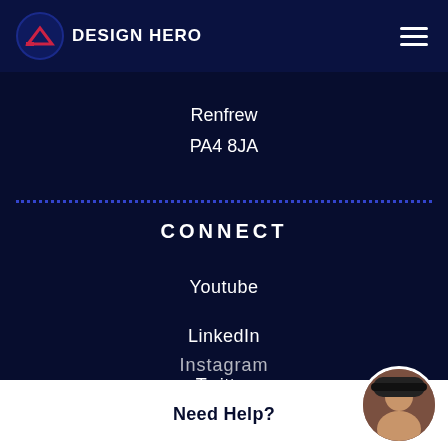DESIGN HERO
Renfrew
PA4 8JA
CONNECT
Youtube
LinkedIn
Twitter
Instagram
Need Help?